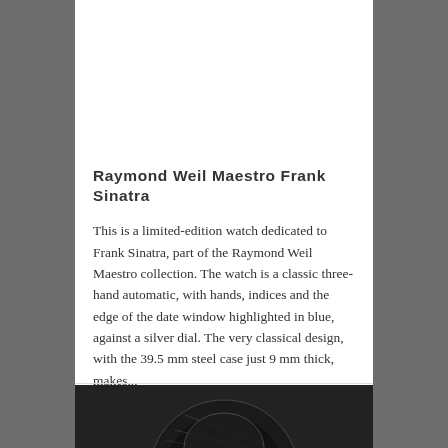[Figure (photo): Close-up photograph of a wristwatch being held, showing white dial with blue hands and indices, brown leather strap visible]
Raymond Weil Maestro Frank Sinatra
This is a limited-edition watch dedicated to Frank Sinatra, part of the Raymond Weil Maestro collection. The watch is a classic three-hand automatic, with hands, indices and the edge of the date window highlighted in blue, against a silver dial. The very classical design, with the 39.5 mm steel case just 9 mm thick, makes...
31st December 2015 in Raymond Weil.
[Figure (photo): Partial black and white close-up photograph of a watch movement or dial at the bottom of the page]